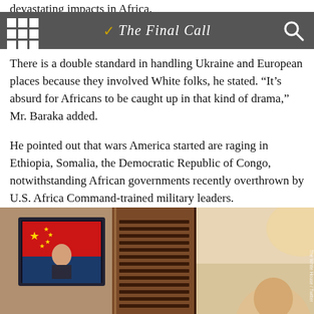devastating impacts in Africa.
The Final Call
There is a double standard in handling Ukraine and European places because they involved White folks, he stated. “It’s absurd for Africans to be caught up in that kind of drama,” Mr. Baraka added.
He pointed out that wars America started are raging in Ethiopia, Somalia, the Democratic Republic of Congo, notwithstanding African governments recently overthrown by U.S. Africa Command-trained military leaders.
We can’t get caught up in this singular focus on Ukraine that White folks are into, cautioned Mr. Baraka.
[Figure (photo): A photo showing a television screen displaying what appears to be a Chinese flag and a person speaking, with a wooden cabinet or furniture piece in the background and a partial view of a person on the right side of the frame.]